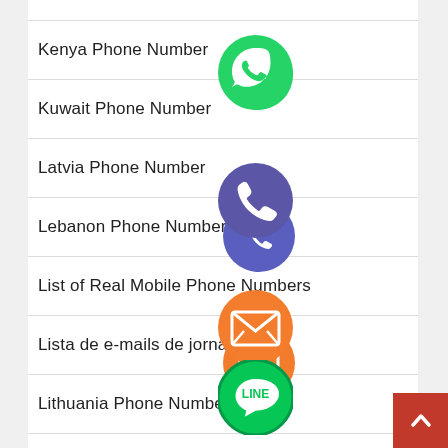Kenya Phone Number
Kuwait Phone Number
Latvia Phone Number
Lebanon Phone Number
List of Real Mobile Phone Numbers
Lista de e-mails de jornalistas
Lithuania Phone Number
Logo Designs service
[Figure (screenshot): Floating social media / messaging app icons overlaid on the list: WhatsApp (green), Viber (blue/phone), email envelope (orange), LINE (green), Viber (purple), close/X (green)]